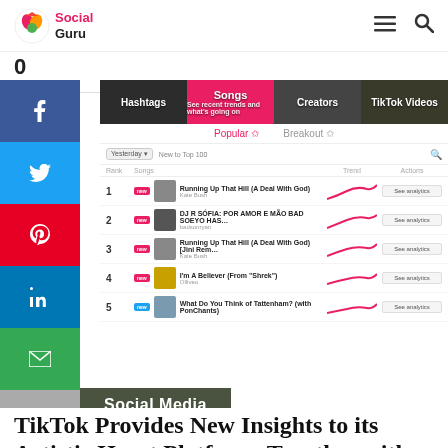Social Guru
0
SHARES
[Figure (screenshot): TikTok Creative Center screenshot showing Songs trending chart with tabs: Hashtags, Songs, Creators, TikTok Videos. Popular and Breakout filter tabs. Table with 5 ranked songs including Running Up That Hill (A Deal With God) by Kate Bush at rank 1, DJ R SÓFIA: POR AMOR E MÃO BAD SOEYO HAS at rank 2, Running Up That Hill (A Deal With God) [Jini Rem at rank 3, I'm A Believer (From Shrek) at rank 4, What Do You Think of Tattenham? at rank 5. Each row has New badge, thumbnail, trend sparkline, and See analytics button.]
Social Media
TikTok Provides New Insights to its Artistic Heart Platform, Together with Information on